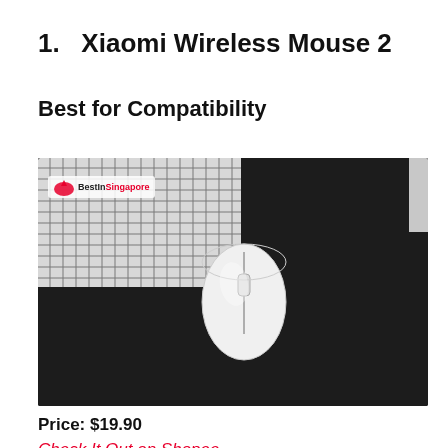1. Xiaomi Wireless Mouse 2
Best for Compatibility
[Figure (photo): A white Xiaomi wireless mouse placed on a black textured mousepad beside a white keyboard. The image has a 'Best in Singapore' logo watermark in the top left corner.]
Price: $19.90
Check It Out on Shopee